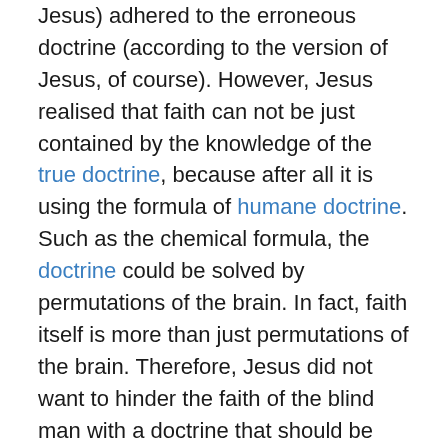Jesus) adhered to the erroneous doctrine (according to the version of Jesus, of course). However, Jesus realised that faith can not be just contained by the knowledge of the true doctrine, because after all it is using the formula of humane doctrine. Such as the chemical formula, the doctrine could be solved by permutations of the brain. In fact, faith itself is more than just permutations of the brain. Therefore, Jesus did not want to hinder the faith of the blind man with a doctrine that should be owned by the blind man.
The reason is understandable. The doctrine of the truth of faith is received through reasoning, through logical thinking by a person. Logic and reasoning that could be wrong is always a possibility. It need not be a problem as long as people have openness in thinking. Only when people are willing to do their own research and when they